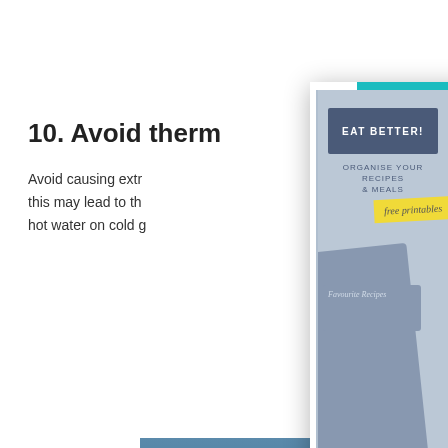10. Avoid therm
Avoid causing extr this may lead to th hot water on cold g
[Figure (screenshot): Modal popup overlay showing a recipe and meal planner advertisement. Contains an image of printable recipe cards and meal planners, with text 'EAT BETTER! ORGANISE YOUR RECIPES & MEALS' and 'free printables' in yellow. Below the image text reads 'Want to eat better by being more organised with meals? >>Grab your FREE Recipe and Meal Planner Pack HERE<<'. A teal CLOSE button appears in top right.]
Want to eat better by being more organised with meals?
>>Grab your FREE Recipe and Meal Planner Pack HERE<<